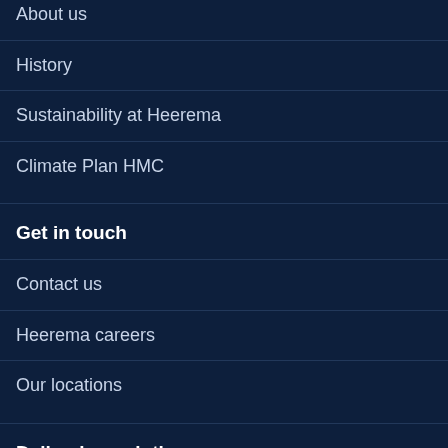About us
History
Sustainability at Heerema
Climate Plan HMC
Get in touch
Contact us
Heerema careers
Our locations
Delivering solutions
Heerema Marine Contractors
Heerema Fabrication Group
Heerema Engineering Solutions